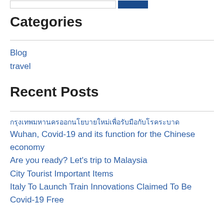Categories
Blog
travel
Recent Posts
กรุงเทพมหานครออกนโยบายใหม่เพื่อรับมือกับโรคระบาด
Wuhan, Covid-19 and its function for the Chinese economy
Are you ready? Let's trip to Malaysia
City Tourist Important Items
Italy To Launch Train Innovations Claimed To Be Covid-19 Free